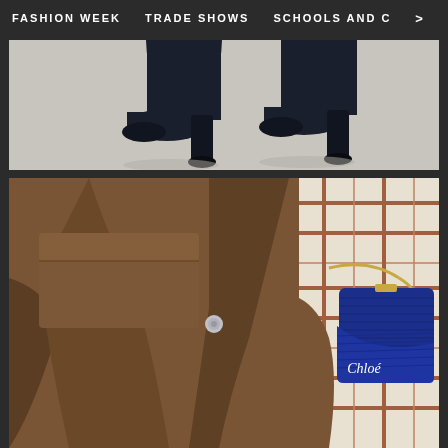FASHION WEEK   TRADE SHOWS   SCHOOLS AND C >
[Figure (photo): Two pairs of black high-heel ankle boots walking on a light grey surface, street style fashion photography]
[Figure (photo): Close-up of a person wearing brown cargo trousers and carrying a blue textured Chloé branded crossbody bag, with a plaid shirt visible in the background]